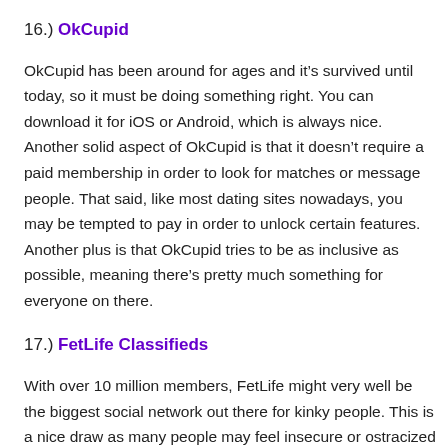16.) OkCupid
OkCupid has been around for ages and it's survived until today, so it must be doing something right. You can download it for iOS or Android, which is always nice. Another solid aspect of OkCupid is that it doesn't require a paid membership in order to look for matches or message people. That said, like most dating sites nowadays, you may be tempted to pay in order to unlock certain features. Another plus is that OkCupid tries to be as inclusive as possible, meaning there's pretty much something for everyone on there.
17.) FetLife Classifieds
With over 10 million members, FetLife might very well be the biggest social network out there for kinky people. This is a nice draw as many people may feel insecure or ostracized by their